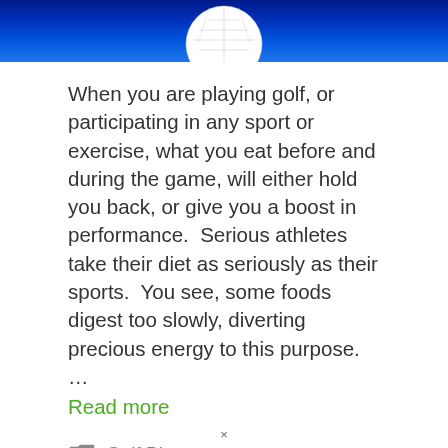[Figure (photo): Top portion of a golf ball on a blue background, cropped at the top of the page]
When you are playing golf, or participating in any sport or exercise, what you eat before and during the game, will either hold you back, or give you a boost in performance.  Serious athletes take their diet as seriously as their sports.  You see, some foods digest too slowly, diverting  precious energy to this purpose.  … Read more
Golf Blogs